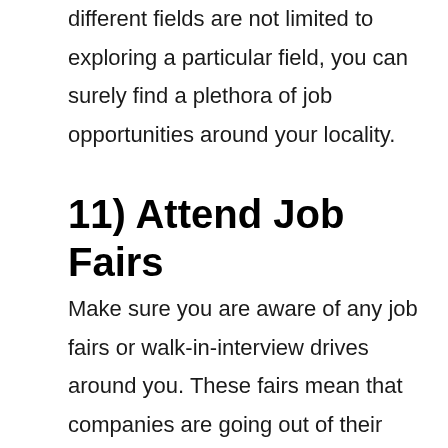different fields are not limited to exploring a particular field, you can surely find a plethora of job opportunities around your locality.
11) Attend Job Fairs
Make sure you are aware of any job fairs or walk-in-interview drives around you. These fairs mean that companies are going out of their way to look for professionals, and you can make the most of them.